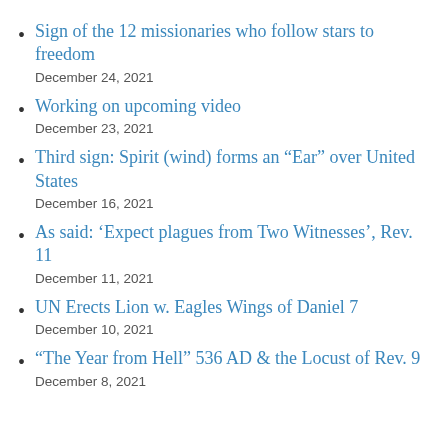Sign of the 12 missionaries who follow stars to freedom
December 24, 2021
Working on upcoming video
December 23, 2021
Third sign: Spirit (wind) forms an “Ear” over United States
December 16, 2021
As said: ‘Expect plagues from Two Witnesses’, Rev. 11
December 11, 2021
UN Erects Lion w. Eagles Wings of Daniel 7
December 10, 2021
“The Year from Hell” 536 AD & the Locust of Rev. 9
December 8, 2021